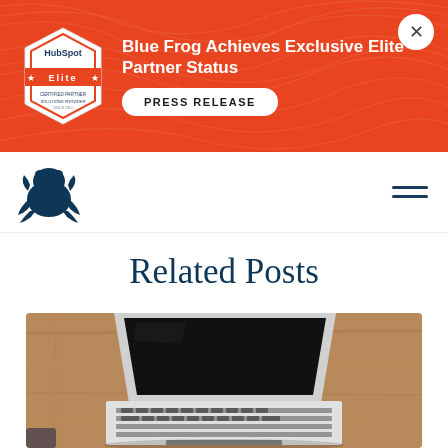[Figure (infographic): Orange promotional banner with HubSpot Elite badge, text 'Blue Frog Achieves Exclusive Elite Partner Status', a 'PRESS RELEASE' button, and a close X button. Background has topo map pattern.]
[Figure (logo): Blue Frog logo - dark blue frog silhouette]
Related Posts
[Figure (photo): Overhead photo of an open MacBook laptop on a wooden desk surface, with keyboard visible and dark screen]